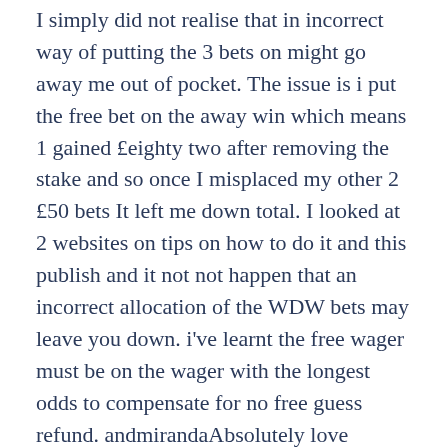I simply did not realise that in incorrect way of putting the 3 bets on might go away me out of pocket. The issue is i put the free bet on the away win which means 1 gained £eighty two after removing the stake and so once I misplaced my other 2 £50 bets It left me down total. I looked at 2 websites on tips on how to do it and this publish and it not not happen that an incorrect allocation of the WDW bets may leave you down. i've learnt the free wager must be on the wager with the longest odds to compensate for no free guess refund. andmirandaAbsolutely love BET365 for these provides-makes even mug betting worthwhile over the long term due.
Every live sport it provides is on a navigation bar at the prime of the overview page so yow will discover what you might be looking for simply. The sports are easy to